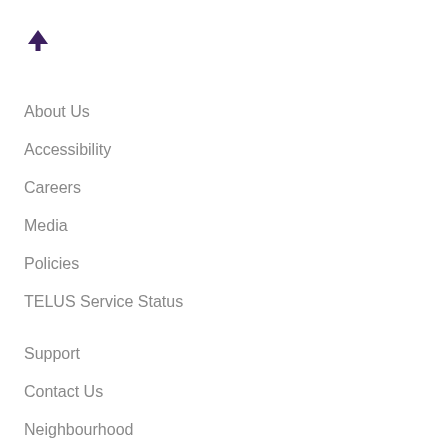[Figure (other): Up arrow icon in dark purple color]
About Us
Accessibility
Careers
Media
Policies
TELUS Service Status
Support
Contact Us
Neighbourhood
Find a store
User Terms
Service Terms